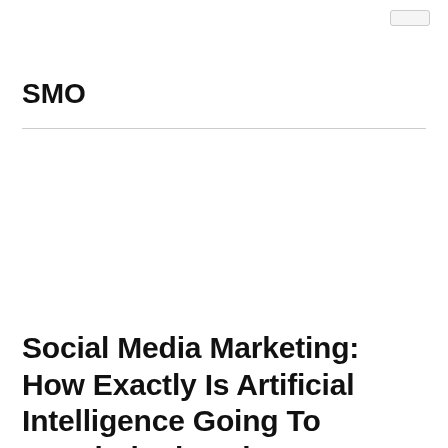SMO
Social Media Marketing: How Exactly Is Artificial Intelligence Going To Revolutionise The